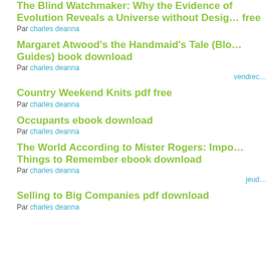The Blind Watchmaker: Why the Evidence of Evolution Reveals a Universe without Design free
Par charles deanna
Margaret Atwood's the Handmaid's Tale (Bloom's Guides) book download
Par charles deanna
vendredi
Country Weekend Knits pdf free
Par charles deanna
Occupants ebook download
Par charles deanna
The World According to Mister Rogers: Important Things to Remember ebook download
Par charles deanna
jeudi
Selling to Big Companies pdf download
Par charles deanna